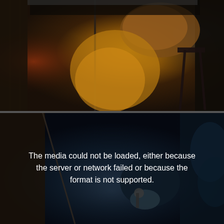[Figure (photo): Top half: a musician at a live venue, wearing a yellow/gold outfit, leaning over a guitar. A microphone stand is visible in the foreground. The scene is dimly lit with warm orange and blue stage lighting. Dark walls visible on the sides.]
[Figure (photo): Bottom half: a dark stage scene with a person holding a microphone, shot in dark blue/teal tones. A video player error message overlays the center: 'The media could not be loaded, either because the server or network failed or because the format is not supported.']
The media could not be loaded, either because the server or network failed or because the format is not supported.